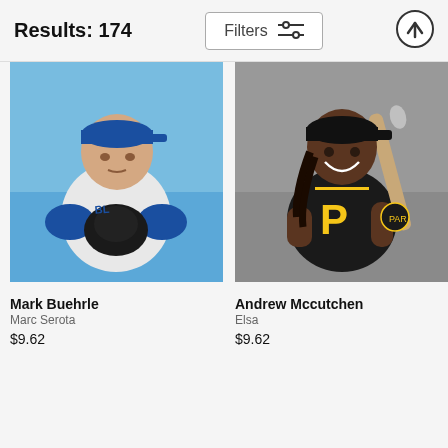Results: 174
[Figure (photo): Mark Buehrle, Toronto Blue Jays pitcher in white uniform holding a black glove, posed on blue background]
Mark Buehrle
Marc Serota
$9.62
[Figure (photo): Andrew Mccutchen, Pittsburgh Pirates batter in black uniform holding a baseball bat over shoulder, smiling, on grey background]
Andrew Mccutchen
Elsa
$9.62